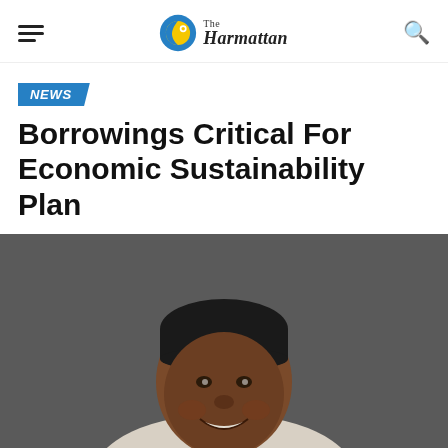The Harmattan — navigation header with hamburger menu, logo, and search icon
NEWS
Borrowings Critical For Economic Sustainability Plan
[Figure (photo): Portrait photo of a smiling African man wearing a black kufi cap and light-colored traditional attire, against a dark grey background.]